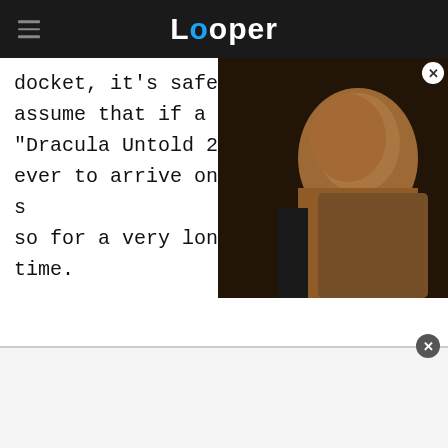Looper
docket, it's safe to assume that if a "Dracula Untold 2" is ever to arrive on the s so for a very long time.
[Figure (screenshot): Video thumbnail showing a person's face with a play button overlay, embedded as a floating video player in the top-right of the content area]
[Figure (screenshot): Advertisement bar at the bottom of the page with a close (X) button in the top-right corner]